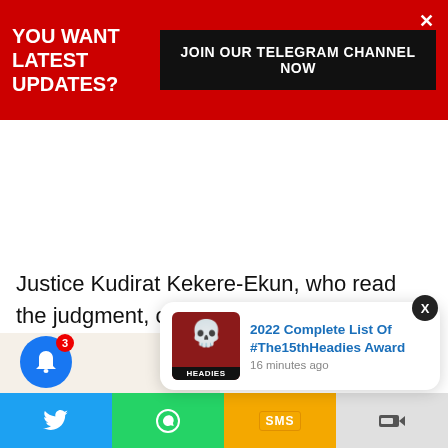YOU WANT LATEST UPDATES?
[Figure (screenshot): Black button with text JOIN OUR TELEGRAM CHANNEL NOW]
Justice Kudirat Kekere-Ekun, who read the judgment, ordered INEC to withdraw the certificate of return issued to Ihedioha and give a fresh one to his APC rival.
[Figure (screenshot): Notification popup with Headies Award image and title '2022 Complete List Of #The15thHeadies Award' with timestamp '16 minutes ago']
[Figure (screenshot): Bottom share bar with Twitter, WhatsApp, SMS and share buttons. Blue notification bell with badge count 3.]